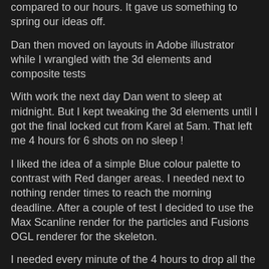compared to our hours. It gave us something to spring our ideas off.
Dan then moved on layouts in Adobe illustrator while I wrangled with the 3d elements and composite tests
With work the next day Dan went to sleep at midnight. But I kept tweaking the 3d elements until I got the final locked cut from Karel at 5am. That left me 4 hours for 6 shots on no sleep !
I liked the idea of a simple Blue colour palette to contrast with Red danger areas. I needed next to nothing render times to reach the morning deadline. After a couple of test I decided to use the Max Scanline render for the particles and Fusions OGL renderer for the skeleton.
I needed every minute of the 4 hours to drop all the elements into place and match Alix's performance. But I got the final shot to Tom at about 8 in the morning, leaving him just enough time to render short and deliver it to the judges.
As ever there is loads more I would like to have done. I made some pretty cool particle tests to represent DNA sequences. We left a big space for them in the GUI. But alas there simply wasn't time to add them.